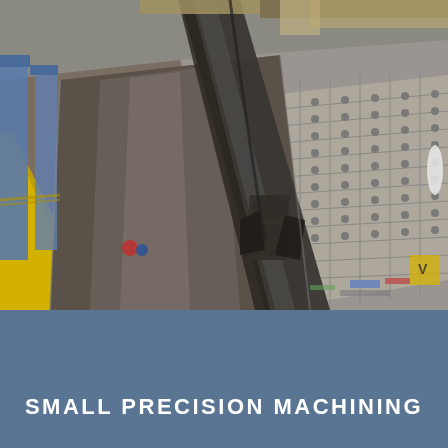[Figure (photo): Aerial view of a large industrial machining facility floor showing a long heavy metal workpiece (possibly a crane boom or structural beam) laid on a machining table with a grid of holes. Blue structural columns are visible on the left side, yellow safety lines on the floor, and various tools and components scattered around.]
SMALL PRECISION MACHINING